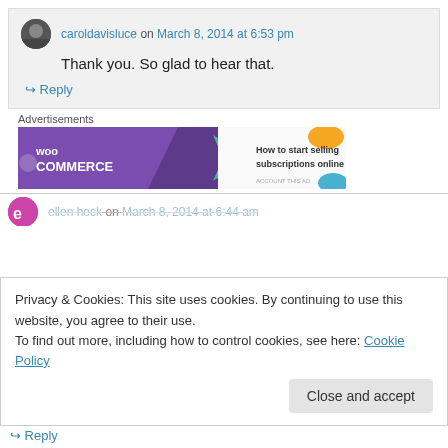caroldavisluce on March 8, 2014 at 6:53 pm
Thank you. So glad to hear that.
↳ Reply
Advertisements
[Figure (illustration): WooCommerce banner ad: purple and white background with WooCommerce logo, green arrow shape, text 'How to start selling subscriptions online', orange and blue decorative shapes]
ellen heck on March 8, 2014 at 6:44 am
Privacy & Cookies: This site uses cookies. By continuing to use this website, you agree to their use.
To find out more, including how to control cookies, see here: Cookie Policy
Close and accept
↳ Reply